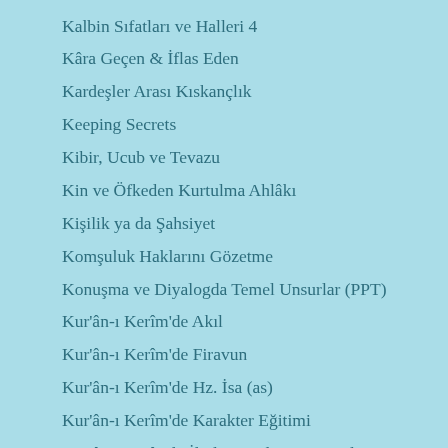Kalbin Sıfatları ve Halleri 4
Kâra Geçen & İflas Eden
Kardeşler Arası Kıskançlık
Keeping Secrets
Kibir, Ucub ve Tevazu
Kin ve Öfkeden Kurtulma Ahlâkı
Kişilik ya da Şahsiyet
Komşuluk Haklarını Gözetme
Konuşma ve Diyalogda Temel Unsurlar (PPT)
Kur'ân-ı Kerîm'de Akıl
Kur'ân-ı Kerîm'de Firavun
Kur'ân-ı Kerîm'de Hz. İsa (as)
Kur'ân-ı Kerîm'de Karakter Eğitimi
Kur'ân-ı Kerîm'le İlgili Temel Bazı Konular